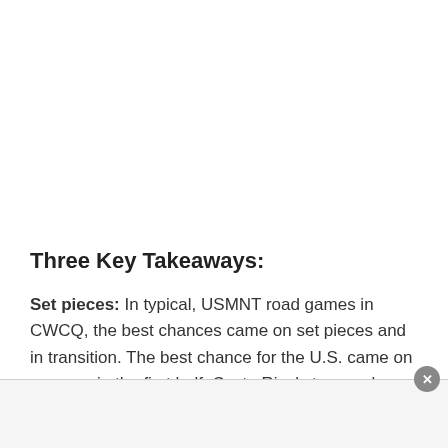Three Key Takeaways:
Set pieces: In typical, USMNT road games in CWCQ, the best chances came on set pieces and in transition. The best chance for the U.S. came on a corner in the first half. Costa Rica's two goals were